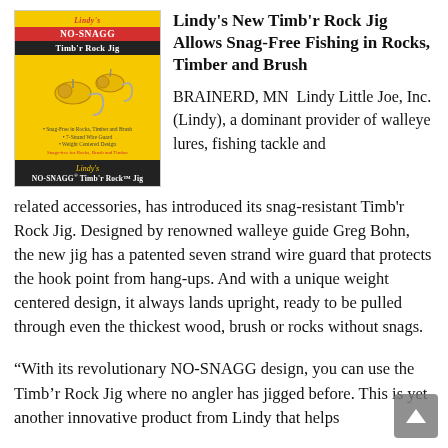[Figure (photo): Product photo of Lindy NO-SNAGG Timb'r Rock Jig in packaging, yellow card with jig lures visible, black bottom bar with brand name and product name.]
Lindy's New Timb'r Rock Jig Allows Snag-Free Fishing in Rocks, Timber and Brush
BRAINERD, MN  Lindy Little Joe, Inc. (Lindy), a dominant provider of walleye lures, fishing tackle and related accessories, has introduced its snag-resistant Timb'r Rock Jig. Designed by renowned walleye guide Greg Bohn, the new jig has a patented seven strand wire guard that protects the hook point from hang-ups. And with a unique weight centered design, it always lands upright, ready to be pulled through even the thickest wood, brush or rocks without snags.
“With its revolutionary NO-SNAGG design, you can use the Timb’r Rock Jig where no angler has jigged before. This is yet another innovative product from Lindy that helps